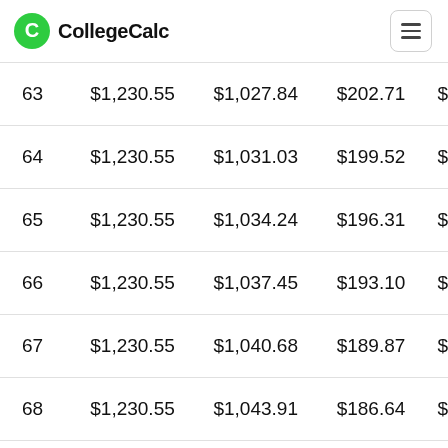CollegeCalc
| # | Payment | Principal | Interest | Balance |
| --- | --- | --- | --- | --- |
| 63 | $1,230.55 | $1,027.84 | $202.71 | $ |
| 64 | $1,230.55 | $1,031.03 | $199.52 | $ |
| 65 | $1,230.55 | $1,034.24 | $196.31 | $ |
| 66 | $1,230.55 | $1,037.45 | $193.10 | $ |
| 67 | $1,230.55 | $1,040.68 | $189.87 | $ |
| 68 | $1,230.55 | $1,043.91 | $186.64 | $ |